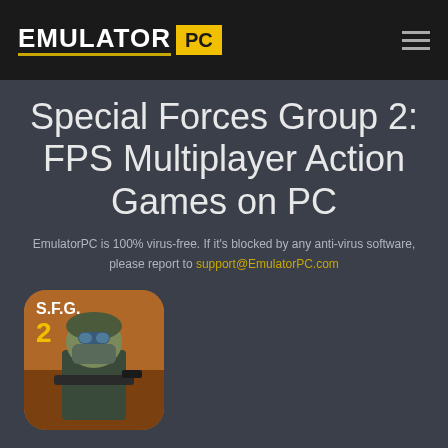EMULATOR PC
Special Forces Group 2: FPS Multiplayer Action Games on PC
EmulatorPC is 100% virus-free. If it's blocked by any anti-virus software, please report to support@EmulatorPC.com
[Figure (illustration): Special Forces Group 2 game icon showing a soldier character with S.F.G. 2 logo]
Special Forces Group 2
Developer: ForgeGames